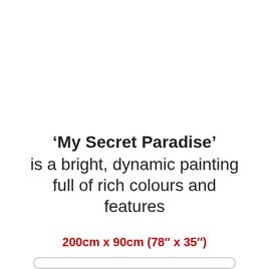'My Secret Paradise' is a bright, dynamic painting full of rich colours and features
200cm x 90cm (78″ x 35″)
SOLD